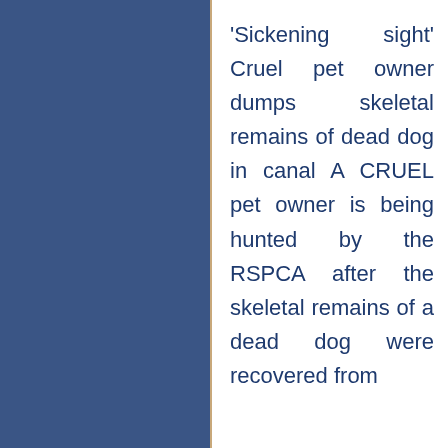'Sickening sight' Cruel pet owner dumps skeletal remains of dead dog in canal A CRUEL pet owner is being hunted by the RSPCA after the skeletal remains of a dead dog were recovered from